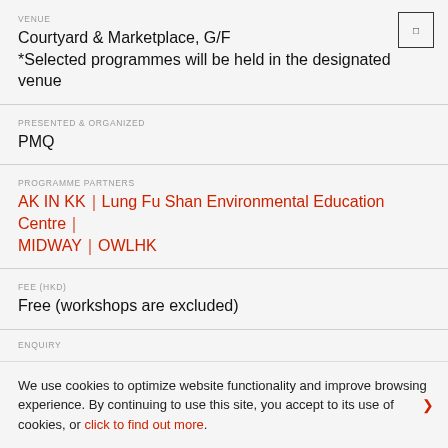VENUE
Courtyard & Marketplace, G/F
*Selected programmes will be held in the designated venue
PRESENTED & ORGANIZED
PMQ
PROGRAMME PARTNERS
AK IN KK｜Lung Fu Shan Environmental Education Centre｜MIDWAY｜OWLHK
FEE (HKD)
Free (workshops are excluded)
ENQUIRY
We use cookies to optimize website functionality and improve browsing experience. By continuing to use this site, you accept to its use of cookies, or click to find out more.